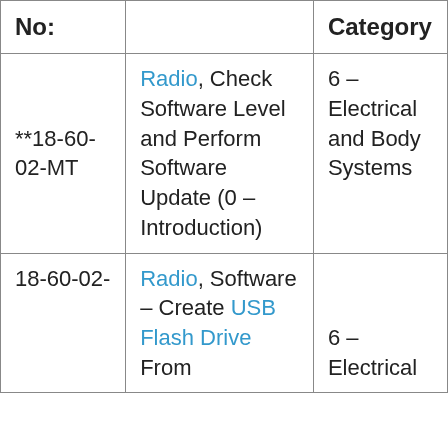| No: |  | Category |
| --- | --- | --- |
| **18-60-02-MT | Radio, Check Software Level and Perform Software Update (0 – Introduction) | 6 – Electrical and Body Systems |
| 18-60-02- | Radio, Software – Create USB Flash Drive From | 6 – Electrical |